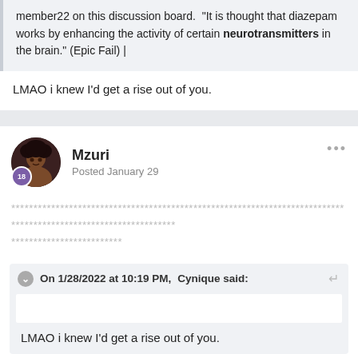member22 on this discussion board. "It is thought that diazepam works by enhancing the activity of certain neurotransmitters in the brain." (Epic Fail) |
LMAO i knew I'd get a rise out of you.
Mzuri
Posted January 29
****************************************************************************************************************
On 1/28/2022 at 10:19 PM, Cynique said:
LMAO i knew I'd get a rise out of you.